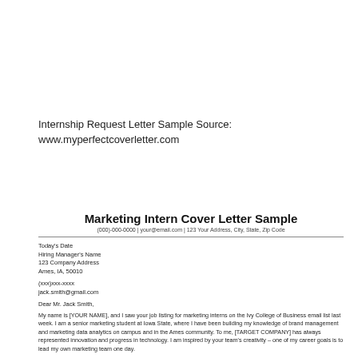Internship Request Letter Sample Source:

www.myperfectcoverletter.com
Marketing Intern Cover Letter Sample
(000)-000-0000 | your@email.com | 123 Your Address, City, State, Zip Code
Today's Date
Hiring Manager's Name
123 Company Address
Ames, IA, 50010
(xxx)xxx-xxxx
jack.smith@gmail.com
Dear Mr. Jack Smith,
My name is [YOUR NAME], and I saw your job listing for marketing interns on the Ivy College of Business email list last week. I am a senior marketing student at Iowa State, where I have been building my knowledge of brand management and marketing data analytics on campus and in the Ames community. To me, [TARGET COMPANY] has always represented innovation and progress in technology. I am inspired by your team's creativity – one of my career goals is to lead my own marketing team one day.